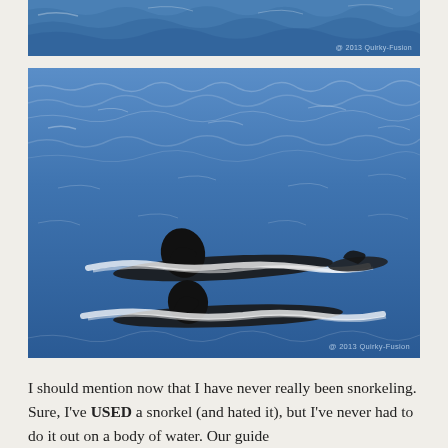[Figure (photo): Partial top strip of ocean water with blue waves, watermark '@ 2013 Quirky Fusion' in lower right corner.]
[Figure (photo): Photograph of two dolphins or whales surfacing in blue ocean water, showing dark dorsal fins and white foam/wake trails. Watermark '@ 2013 Quirky-Fusion' in lower right corner.]
I should mention now that I have never really been snorkeling. Sure, I've USED a snorkel (and hated it), but I've never had to do it out on a body of water. Our guide